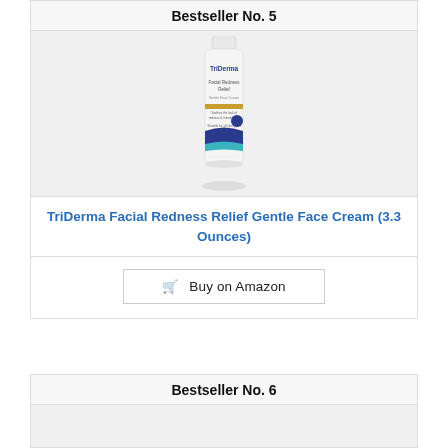Bestseller No. 5
[Figure (photo): TriDerma Facial Redness Relief Gentle Face Cream tube product photo, white tube with blue and gold accents]
TriDerma Facial Redness Relief Gentle Face Cream (3.3 Ounces)
Buy on Amazon
Bestseller No. 6